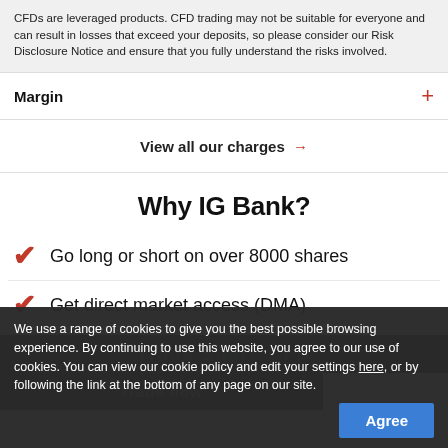CFDs are leveraged products. CFD trading may not be suitable for everyone and can result in losses that exceed your deposits, so please consider our Risk Disclosure Notice and ensure that you fully understand the risks involved.
Margin
View all our charges →
Why IG Bank?
Go long or short on over 8000 shares
Get direct market access (DMA)
We use a range of cookies to give you the best possible browsing experience. By continuing to use this website, you agree to our use of cookies. You can view our cookie policy and edit your settings here, or by following the link at the bottom of any page on our site.